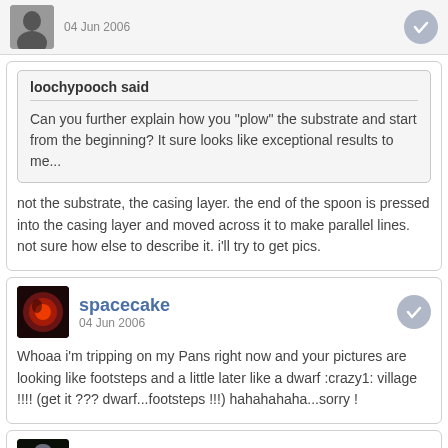04 Jun 2006
loochypooch said
Can you further explain how you "plow" the substrate and start from the beginning? It sure looks like exceptional results to me...
not the substrate, the casing layer. the end of the spoon is pressed into the casing layer and moved across it to make parallel lines. not sure how else to describe it. i'll try to get pics.
spacecake
04 Jun 2006
Whoaa i'm tripping on my Pans right now and your pictures are looking like footsteps and a little later like a dwarf :crazy1: village !!!! (get it ??? dwarf...footsteps !!!) hahahahaha...sorry !
fahtster
04 Jun 2006
lol nice. :)